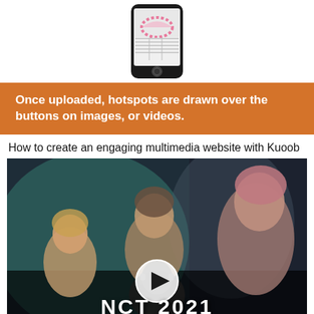[Figure (screenshot): Screenshot of a mobile phone/music player interface showing a pink semi-circular graphic and data table]
Once uploaded, hotspots are drawn over the buttons on images, or videos.
How to create an engaging multimedia website with Kuoob
[Figure (screenshot): Video thumbnail showing NCT 2021 music video with multiple K-pop artists and a play button overlay. Text reads NCT 2021 at the bottom.]